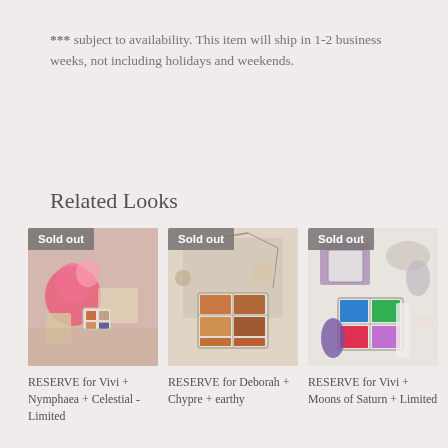*** subject to availability. This item will ship in 1-2 business weeks, not including holidays and weekends.
Related Looks
[Figure (photo): Product photo with pink flower and paint palette tins on a white surface. Badge reads Sold out. Caption: RESERVE for Vivi + Nymphaea + Celestial - Limited]
[Figure (photo): Product photo with watercolor palette tin and dried botanical elements on white surface. Badge reads Sold out. Caption: RESERVE for Deborah + Chypre + earthy]
[Figure (photo): Product photo with colorful watercolor palette tin and crystals on white surface. Badge reads Sold out. Caption: RESERVE for Vivi + Moons of Saturn + Limited]
RESERVE for Vivi + Nymphaea + Celestial - Limited
RESERVE for Deborah + Chypre + earthy
RESERVE for Vivi + Moons of Saturn + Limited